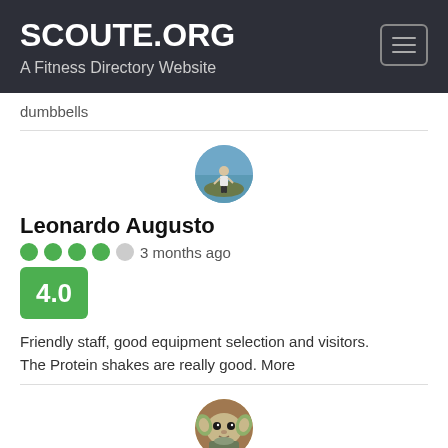SCOUTE.ORG
A Fitness Directory Website
dumbbells
[Figure (photo): Circular avatar photo of a person standing outdoors on a hilltop or cliff]
Leonardo Augusto
3 months ago
4.0
Friendly staff, good equipment selection and visitors. The Protein shakes are really good. More
[Figure (photo): Circular avatar showing Baby Yoda (Grogu) character from The Mandalorian]